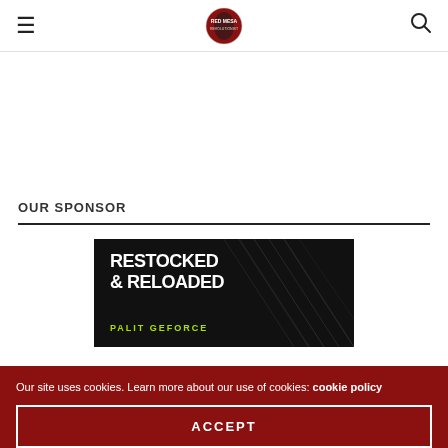Red Mesa Revolutionist — navigation header with hamburger menu, logo, and search icon
OUR SPONSOR
[Figure (illustration): Sponsor banner image with dark background, diagonal light streaks, bold white text reading 'RESTOCKED & RELOADED' and green text reading 'PALIT GEFORCE' at the bottom]
Our site uses cookies. Learn more about our use of cookies: cookie policy
ACCEPT